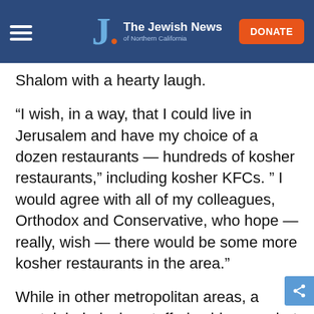The Jewish News of Northern California
Shalom with a hearty laugh.
“I wish, in a way, that I could live in Jerusalem and have my choice of a dozen restaurants — hundreds of kosher restaurants,” including kosher KFCs. ” I would agree with all of my colleagues, Orthodox and Conservative, who hope — really, wish — there would be some more kosher restaurants in the area.”
While in other metropolitan areas, a nostalgia-inducing stuffed cabbage or hot corned beef sandwich the size of a Buick is often within stumbling distance, here in the Bay Area, the